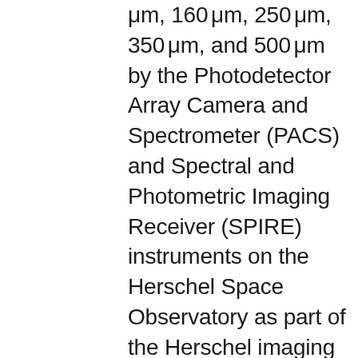μm, 160 μm, 250 μm, 350 μm, and 500 μm by the Photodetector Array Camera and Spectrometer (PACS) and Spectral and Photometric Imaging Receiver (SPIRE) instruments on the Herschel Space Observatory as part of the Herschel imaging survey of OB young stellar objects (HOBYS) Key programme. The Herschel data are complemented by SCUBA-2 data in the submillimetre range, and WISE and Spitzer data in the mid-infrared. In